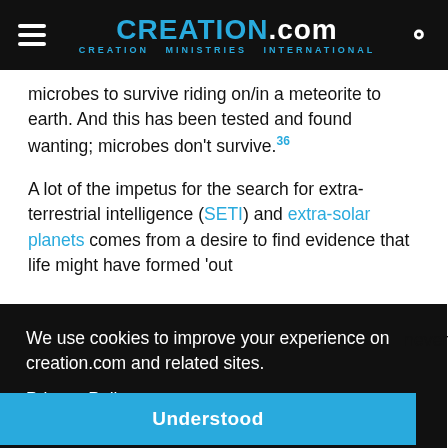CREATION.com — CREATION MINISTRIES INTERNATIONAL
microbes to survive riding on/in a meteorite to earth. And this has been tested and found wanting; microbes don't survive.[36]
A lot of the impetus for the search for extra-terrestrial intelligence (SETI) and extra-solar planets comes from a desire to find evidence that life might have formed 'out
We use cookies to improve your experience on creation.com and related sites. Privacy Policy
Understood